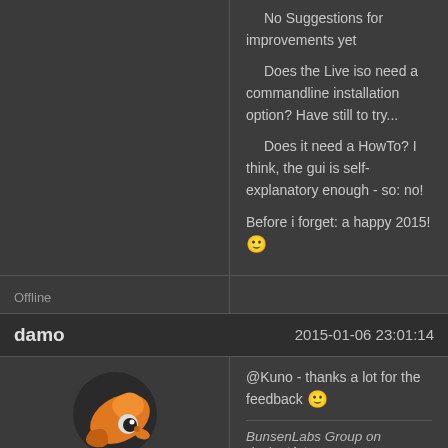No Suggestions for improvements yet
Does the Live iso need a commandline installation option? Have still to try...
Does it need a HowTo? I think, the gui is self-explanatory enough - so: no!
Before i forget: a happy 2015! 🙂
Offline
damo
2015-01-06 23:01:14
[Figure (logo): Blender logo / orange swirling character]
@Kuno - thanks a lot for the feedback 🙂
BunsenLabs Group on deviantArt
damo's gallery on deviantArt
Openbox themes
Forum Moderator 🙂
Offline